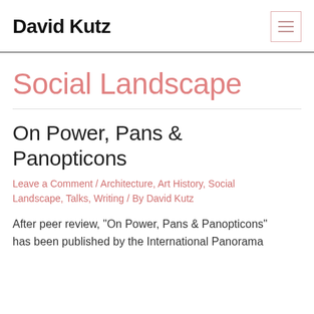David Kutz
Social Landscape
On Power, Pans & Panopticons
Leave a Comment / Architecture, Art History, Social Landscape, Talks, Writing / By David Kutz
After peer review, “On Power, Pans & Panopticons” has been published by the International Panorama